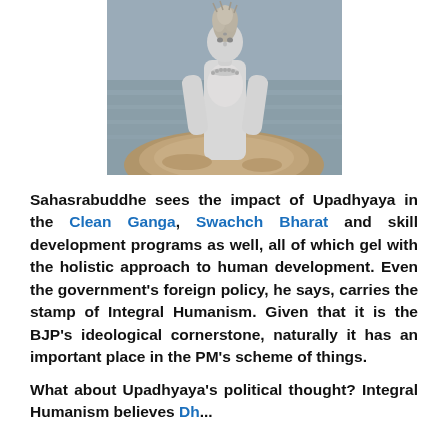[Figure (photo): A white stone statue of a Hindu deity (Shiva) partially submerged in or emerging from sandy floodwater, with murky water in the background.]
Sahasrabuddhe sees the impact of Upadhyaya in the Clean Ganga, Swachch Bharat and skill development programs as well, all of which gel with the holistic approach to human development. Even the government's foreign policy, he says, carries the stamp of Integral Humanism. Given that it is the BJP's ideological cornerstone, naturally it has an important place in the PM's scheme of things.
What about Upadhyaya's political thought? Integral Humanism believes...